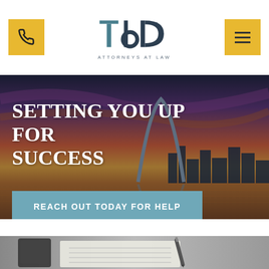[Figure (logo): TDD Attorneys at Law logo with stylized T, d, D letters in teal/dark blue, with phone button (gold) and hamburger menu button (gold) on sides]
[Figure (photo): Hero banner showing St. Louis Gateway Arch at sunset with city skyline reflected in water, warm orange/golden sky tones with dramatic clouds]
SETTING YOU UP FOR SUCCESS
REACH OUT TODAY FOR HELP
[Figure (photo): Bottom partial photo showing a desk with a smartphone, notepad/paper, and pen in black and white/grayscale]